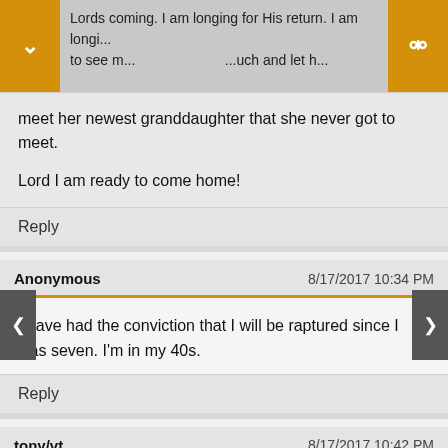UNSEALED
Lords coming. I am longing for His return. I am longing to see m... much and let h...
meet her newest granddaughter that she never got to meet.

Lord I am ready to come home!
Reply
Anonymous — 8/17/2017 10:34 PM
I have had the conviction that I will be raptured since I was seven. I'm in my 40s.
Reply
tony/vt. — 8/17/2017 10:42 PM